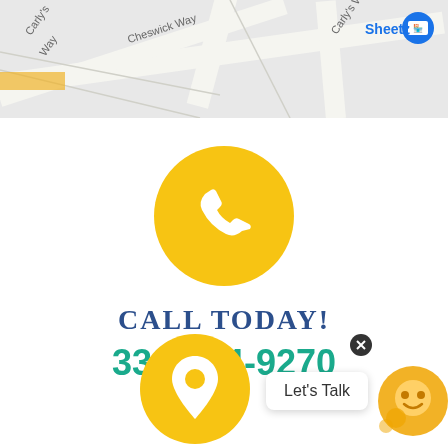[Figure (map): Google Maps screenshot showing street map with roads labeled Carly's Way and Cheswick Way, and a Sheetz location pin in the upper right]
[Figure (illustration): Yellow circle with white phone handset icon]
CALL TODAY!
336-854-9270
[Figure (illustration): Yellow circle with white map location pin icon]
Let's Talk
[Figure (illustration): Chat widget avatar with smiley face in yellow/orange circle]